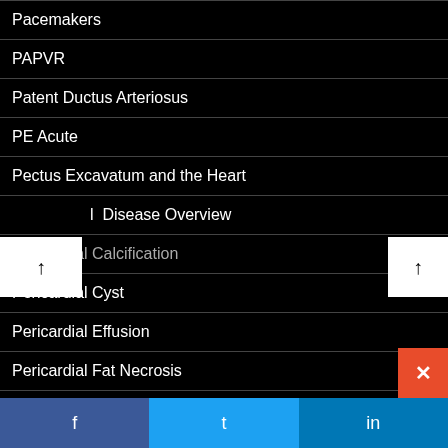Pacemakers
PAPVR
Patent Ductus Arteriosus
PE Acute
Pectus Excavatum and the Heart
l  Disease Overview
Pericardial Calcification
Pericardial Cyst
Pericardial Effusion
Pericardial Fat Necrosis
Pericardial Lipoma
f  t  in